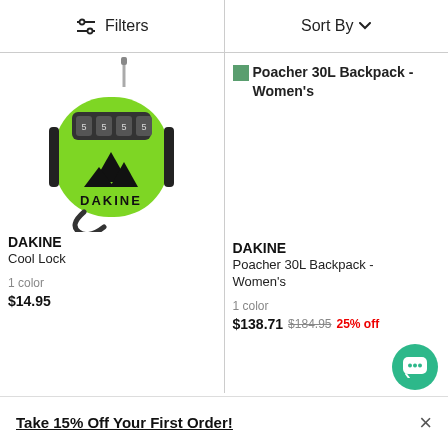Filters  |  Sort By
[Figure (photo): Dakine Cool Lock – green combination lock with cable, Dakine mountain logo on front, 4-digit combination dials visible]
DAKINE
Cool Lock

1 color
$14.95
[Figure (photo): Dakine Poacher 30L Backpack - Women's product thumbnail (small green icon placeholder)]
Poacher 30L Backpack - Women's
DAKINE
Poacher 30L Backpack - Women's

1 color
$138.71  $184.95  25% off
Take 15% Off Your First Order!